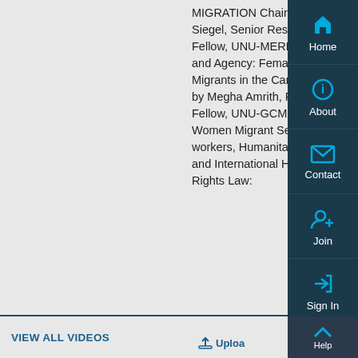MIGRATION Chair: Melissa Siegel, Senior Research Fellow, UNU-MERIT “Labour and Agency: Female Migrants in the Care Sector” by Megha Amrith, Research Fellow, UNU-GCM “Nigerian Women Migrant Sex-workers, Humanitarianism and International Human Rights Law:
[Figure (screenshot): Navigation sidebar with Home, About, Contact, Join, Sign In, Help buttons in dark teal/navy color with cyan icons]
VIEW ALL VIDEOS
Upload